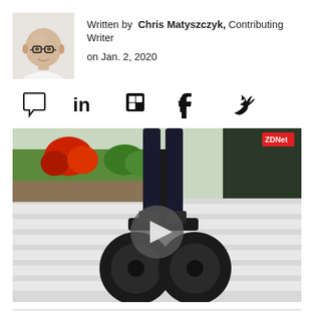[Figure (photo): Headshot of Chris Matyszczyk, a bald man with glasses wearing a white shirt]
Written by Chris Matyszczyk, Contributing Writer on Jan. 2, 2020
[Figure (infographic): Social media sharing icons: comment bubble, LinkedIn, Flipboard, Facebook, Twitter]
[Figure (photo): Video thumbnail showing a person riding a Segway scooter on a crosswalk, with a play button overlay and ZDNet logo watermark]